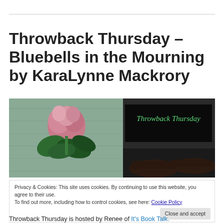Throwback Thursday – Bluebells in the Mourning by KaraLynne Mackrory
[Figure (photo): Blog header image showing pink flowers against a rustic wood background on the left, and a black banner with green text reading 'Throwback Thursday' on the right, with dark leather shoes/hat visible at the bottom.]
Privacy & Cookies: This site uses cookies. By continuing to use this website, you agree to their use.
To find out more, including how to control cookies, see here: Cookie Policy
Close and accept
Throwback Thursday is hosted by Renee of It's Book Talk.